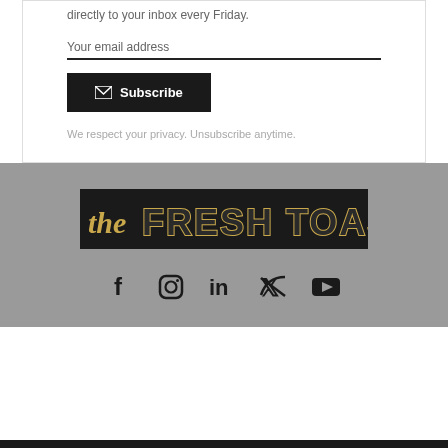directly to your inbox every Friday.
Your email address
Subscribe
We respect your privacy. Unsubscribe anytime.
[Figure (logo): The Fresh Toast logo — dark background with gold-outlined block letters reading FRESH TOAST, with a script lowercase 'the' on the left side]
[Figure (infographic): Row of social media icons: Facebook, Instagram, LinkedIn, Twitter, YouTube]